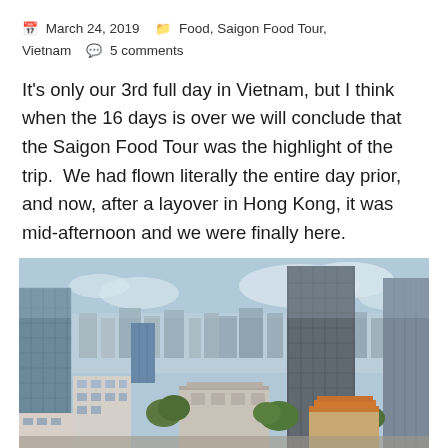March 24, 2019  •  Food, Saigon Food Tour, Vietnam  •  5 comments
It's only our 3rd full day in Vietnam, but I think when the 16 days is over we will conclude that the Saigon Food Tour was the highlight of the trip. We had flown literally the entire day prior, and now, after a layover in Hong Kong, it was mid-afternoon and we were finally here.
[Figure (photo): Aerial cityscape view of Ho Chi Minh City (Saigon), Vietnam, showing numerous high-rise buildings, mid-rise structures, and a blue sky with clouds in the background.]